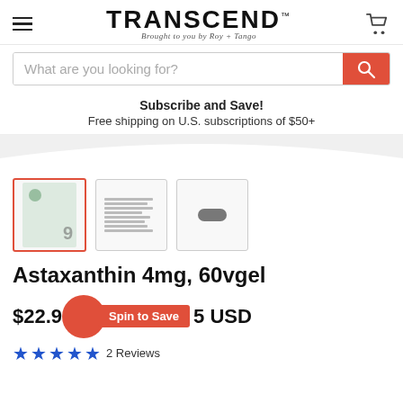[Figure (logo): TRANSCEND logo with 'Brought to you by Roy + Tango' subtitle and hamburger menu and cart icon]
What are you looking for?
Subscribe and Save!
Free shipping on U.S. subscriptions of $50+
[Figure (photo): Three product thumbnails: supplement bottle, supplement facts label, and a single capsule]
Astaxanthin 4mg, 60vgel
$22.95 USD   Spin to Save
★★★★★ 2 Reviews